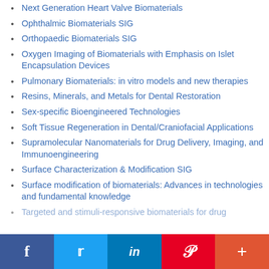Next Generation Heart Valve Biomaterials
Ophthalmic Biomaterials SIG
Orthopaedic Biomaterials SIG
Oxygen Imaging of Biomaterials with Emphasis on Islet Encapsulation Devices
Pulmonary Biomaterials: in vitro models and new therapies
Resins, Minerals, and Metals for Dental Restoration
Sex-specific Bioengineered Technologies
Soft Tissue Regeneration in Dental/Craniofacial Applications
Supramolecular Nanomaterials for Drug Delivery, Imaging, and Immunoengineering
Surface Characterization & Modification SIG
Surface modification of biomaterials: Advances in technologies and fundamental knowledge
Targeted and stimuli-responsive biomaterials for drug…